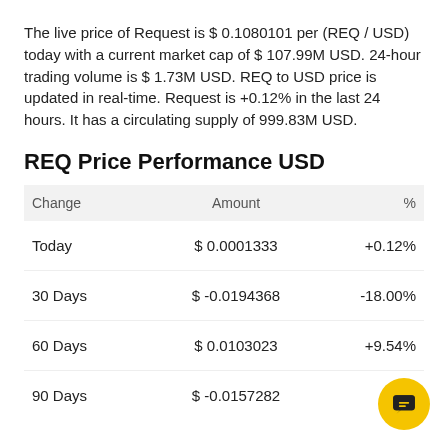The live price of Request is $ 0.1080101 per (REQ / USD) today with a current market cap of $ 107.99M USD. 24-hour trading volume is $ 1.73M USD. REQ to USD price is updated in real-time. Request is +0.12% in the last 24 hours. It has a circulating supply of 999.83M USD.
REQ Price Performance USD
| Change | Amount | % |
| --- | --- | --- |
| Today | $ 0.0001333 | +0.12% |
| 30 Days | $ -0.0194368 | -18.00% |
| 60 Days | $ 0.0103023 | +9.54% |
| 90 Days | $ -0.0157282 | -14… |